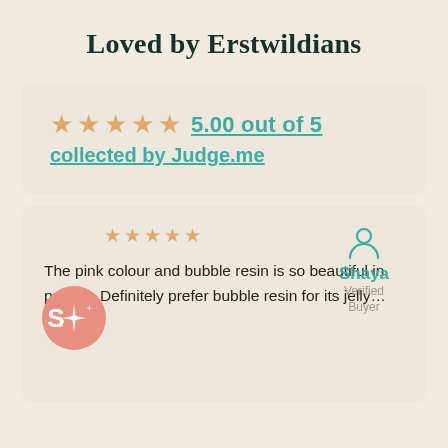Loved by Erstwildians
5.00 out of 5 collected by Judge.me
Shaya Verified Buyer
The pink colour and bubble resin is so beautiful in person. Definitely prefer bubble resin for its jelly…